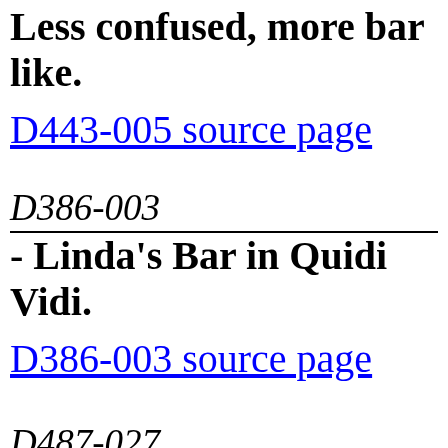Less confused, more bar like.
D443-005 source page
D386-003
- Linda's Bar in Quidi Vidi.
D386-003 source page
D487-027